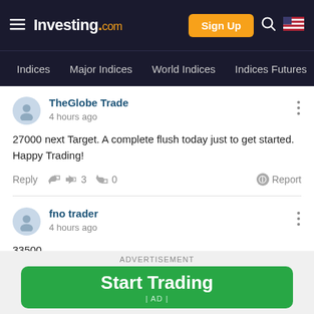Investing.com — Indices | Major Indices | World Indices | Indices Futures
TheGlobe Trade
4 hours ago

27000 next Target. A complete flush today just to get started. Happy Trading!

Reply 👍 3 👎 0    Report
fno trader
4 hours ago

33500

Reply 👍 0 👎 0    Report
ADVERTISEMENT
Start Trading
| AD |